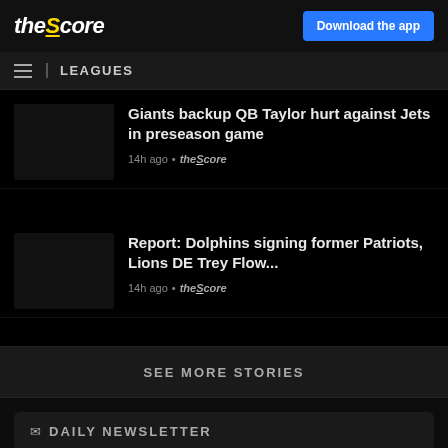theScore
Download the app
LEAGUES
Giants backup QB Taylor hurt against Jets in preseason game
14h ago • theScore
Report: Dolphins signing former Patriots, Lions DE Trey Flow...
14h ago • theScore
SEE MORE STORIES
DAILY NEWSLETTER